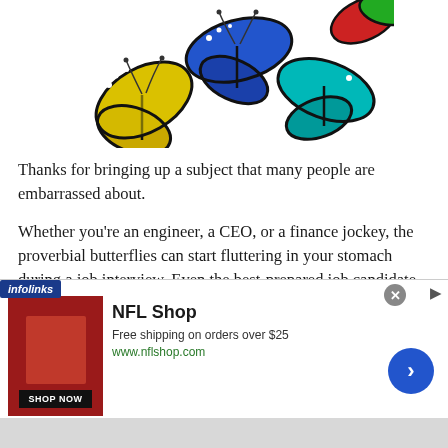[Figure (illustration): Colorful paper or decorative butterflies arranged on a white background — yellow, blue, teal, red, green butterflies visible]
Thanks for bringing up a subject that many people are embarrassed about.
Whether you're an engineer, a CEO, or a finance jockey, the proverbial butterflies can start fluttering in your stomach during a job interview. Even the best-prepared job candidate can get nervous and come off like a blubbering rookie, and the
[Figure (screenshot): Advertisement banner: NFL Shop — Free shipping on orders over $25, www.nflshop.com, SHOP NOW button, with infolinks badge and close/arrow buttons]